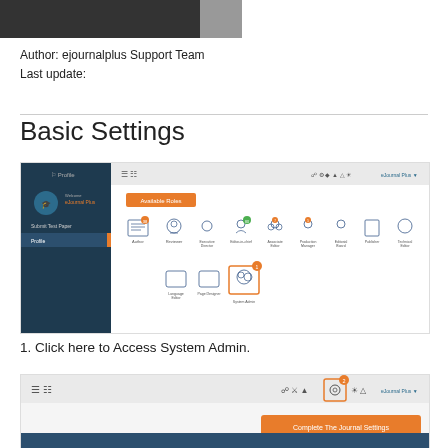[Figure (screenshot): Top banner/header image strip - dark bar on left, grey on right]
Author: ejournalplus Support Team
Last update:
[Figure (screenshot): eJournalPlus dashboard screenshot showing Available Roles with icons including Author, Reviewer, Executive Director, Editor-in-chief, Associate Editor, Production Manager, Editorial Board, Publisher, Technical Editor, Language Editor, Page Designer, System Admin (highlighted in orange box with number 1 badge)]
1. Click here to Access System Admin.
[Figure (screenshot): eJournalPlus top navigation bar screenshot showing toolbar icons with gear/settings icon highlighted (number 2 badge) and orange button 'Complete The Journal Settings']